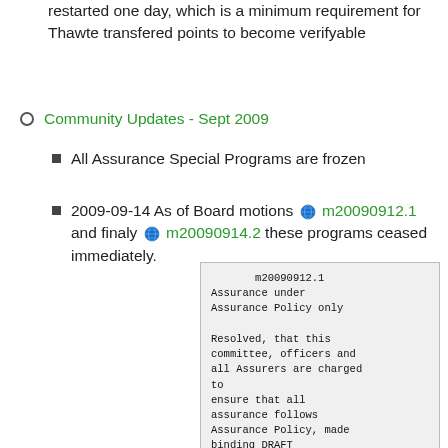restarted one day, which is a minimum requirement for Thawte transfered points to become verifyable
Community Updates - Sept 2009
All Assurance Special Programs are frozen
2009-09-14 As of Board motions m20090912.1 and finaly m20090914.2 these programs ceased immediately.
m20090912.1
Assurance under Assurance Policy only

Resolved, that this committee, officers and all Assurers are charged to
ensure that all assurance follows Assurance Policy, made binding DRAFT p20080712.1 and POLICY